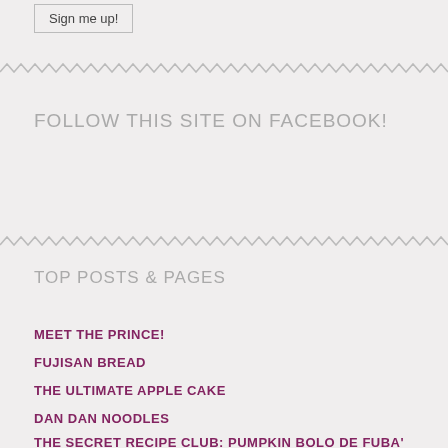Sign me up!
FOLLOW THIS SITE ON FACEBOOK!
TOP POSTS & PAGES
MEET THE PRINCE!
FUJISAN BREAD
THE ULTIMATE APPLE CAKE
DAN DAN NOODLES
THE SECRET RECIPE CLUB: PUMPKIN BOLO DE FUBA' CREMOSO